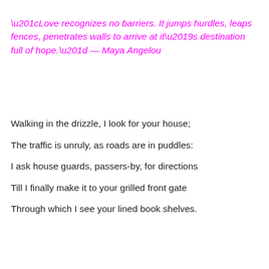“Love recognizes no barriers. It jumps hurdles, leaps fences, penetrates walls to arrive at it’s destination full of hope.” — Maya Angelou
Walking in the drizzle, I look for your house;
The traffic is unruly, as roads are in puddles:
I ask house guards, passers-by, for directions
Till I finally make it to your grilled front gate
Through which I see your lined book shelves.